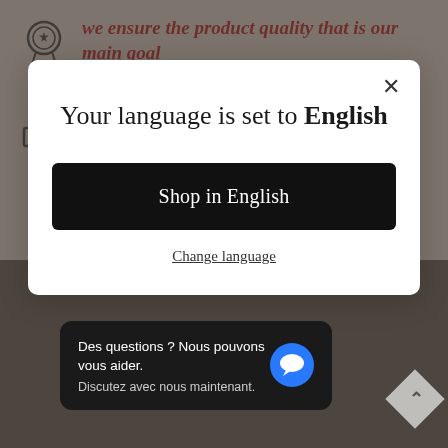[Figure (screenshot): Background website page showing product quality icon with red/maroon italic text 'we ensure the product quality that is our main goal', and below a Commercial Use section with heading and partially visible text 'Comes with personal and commercial use']
[Figure (screenshot): Modal dialog popup with white background. Close X button top right. Title: 'Your language is set to English'. Black button 'Shop in English'. Underlined link 'Change language'.]
[Figure (screenshot): Chat widget in bottom-left, dark background, text: 'Des questions ? Nous pouvons vous aider. Discutez avec nous maintenant.' with blue speech bubble icon. Bottom-right: grey diamond scroll-to-top button with up arrow.]